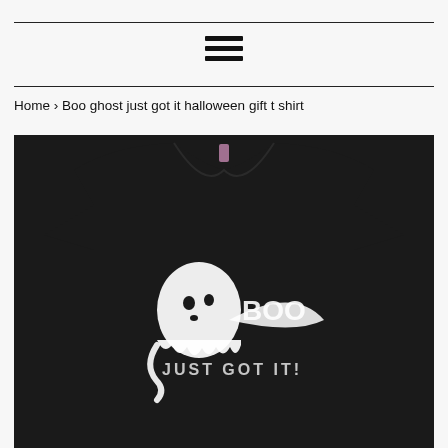≡ (hamburger menu icon)
Home › Boo ghost just got it halloween gift t shirt
[Figure (photo): A black t-shirt with a white ghost design wearing a Nike-style swoosh logo, text reads 'BOO' and 'JUST GOT IT!']